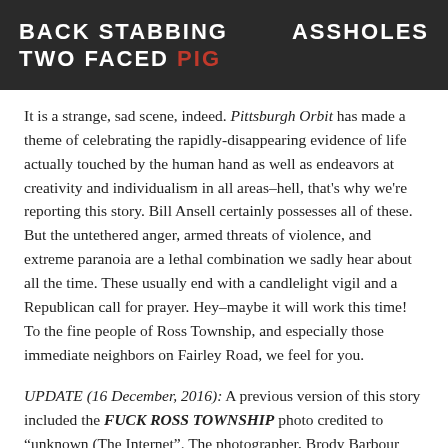[Figure (photo): Dark photograph showing protest signs reading 'BACK STABBING... ASSHOLES' and 'TWO FACED PIG' with 'PIG' in red text]
It is a strange, sad scene, indeed. Pittsburgh Orbit has made a theme of celebrating the rapidly-disappearing evidence of life actually touched by the human hand as well as endeavors at creativity and individualism in all areas–hell, that's why we're reporting this story. Bill Ansell certainly possesses all of these. But the untethered anger, armed threats of violence, and extreme paranoia are a lethal combination we sadly hear about all the time. These usually end with a candlelight vigil and a Republican call for prayer. Hey–maybe it will work this time! To the fine people of Ross Township, and especially those immediate neighbors on Fairley Road, we feel for you.
UPDATE (16 December, 2016): A previous version of this story included the FUCK ROSS TOWNSHIP photo credited to "unknown (The Internet". The photographer, Brody Barbour